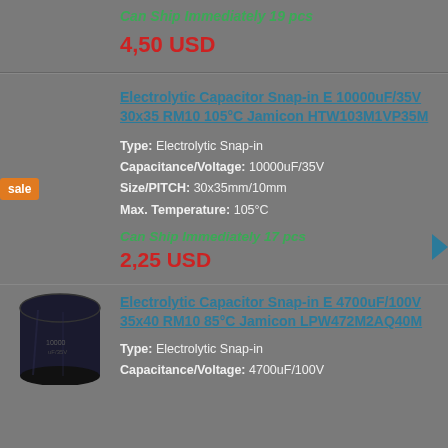Can Ship Immediately 19 pcs
4,50 USD
Electrolytic Capacitor Snap-in E 10000uF/35V 30x35 RM10 105°C Jamicon HTW103M1VP35M
Type: Electrolytic Snap-in
Capacitance/Voltage: 10000uF/35V
Size/PITCH: 30x35mm/10mm
Max. Temperature: 105°C
Can Ship Immediately 17 pcs
2,25 USD
Electrolytic Capacitor Snap-in E 4700uF/100V 35x40 RM10 85°C Jamicon LPW472M2AQ40M
Type: Electrolytic Snap-in
Capacitance/Voltage: 4700uF/100V